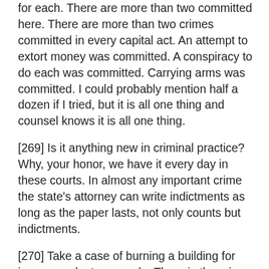for each. There are more than two committed here. There are more than two crimes committed in every capital act. An attempt to extort money was committed. A conspiracy to do each was committed. Carrying arms was committed. I could probably mention half a dozen if I tried, but it is all one thing and counsel knows it is all one thing.
[269] Is it anything new in criminal practice? Why, your honor, we have it every day in these courts. In almost any important crime the state's attorney can write indictments as long as the paper lasts, not only counts but indictments.
[270] Take a case of burning a building for insurance, by two people. There is the crime of arson. There is the crime of burning a building to defraud an insurance company. There is conspiracy to commit arson. There is conspiracy to burn a building to defraud an insurance company. And I might mention others, all in, the one